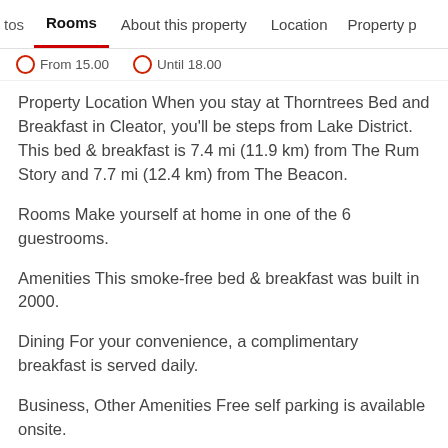tos   Rooms   About this property   Location   Property p
From 15.00   Until 18.00
Property Location When you stay at Thorntrees Bed and Breakfast in Cleator, you'll be steps from Lake District. This bed & breakfast is 7.4 mi (11.9 km) from The Rum Story and 7.7 mi (12.4 km) from The Beacon.
Rooms Make yourself at home in one of the 6 guestrooms.
Amenities This smoke-free bed & breakfast was built in 2000.
Dining For your convenience, a complimentary breakfast is served daily.
Business, Other Amenities Free self parking is available onsite.